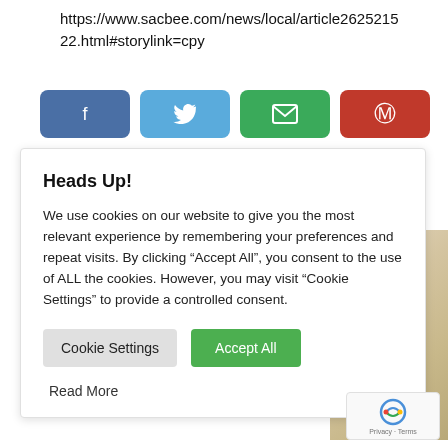https://www.sacbee.com/news/local/article262521522.html#storylink=cpy
[Figure (screenshot): Social sharing buttons: Facebook (dark blue), Twitter (light blue), Email (green), Pinterest (red)]
Heads Up!
We use cookies on our website to give you the most relevant experience by remembering your preferences and repeat visits. By clicking “Accept All”, you consent to the use of ALL the cookies. However, you may visit “Cookie Settings” to provide a controlled consent.
Cookie Settings   Accept All
Read More
[Figure (photo): Partial photo of light-colored wood floor or surface in the background]
[Figure (logo): reCAPTCHA badge with Privacy and Terms text]